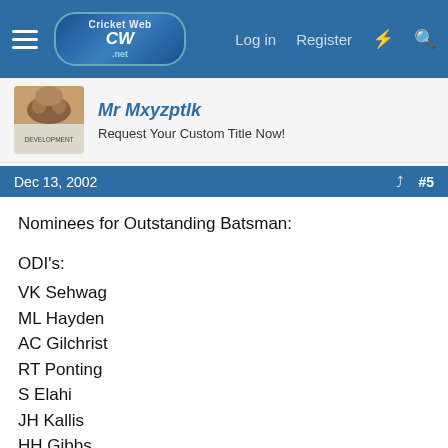CricketWeb.net — Log in  Register
Mr Mxyzptlk
Request Your Custom Title Now!
Dec 13, 2002  #5
Nominees for Outstanding Batsman:

ODI's:
VK Sehwag
ML Hayden
AC Gilchrist
RT Ponting
S Elahi
JH Kallis
HH Gibbs
CH Gayle
RR Sarwan
Yosuf Youhana